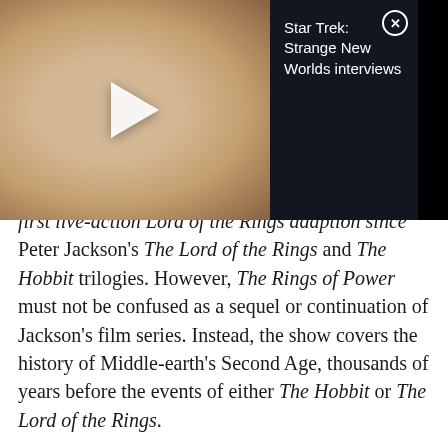[Figure (screenshot): Video thumbnail showing a woman speaking, with dark panel on the right reading 'Star Trek: Strange New Worlds interviews' and a close button]
first live-action Lord of the Rings adaption since Peter Jackson's The Lord of the Rings and The Hobbit trilogies. However, The Rings of Power must not be confused as a sequel or continuation of Jackson's film series. Instead, the show covers the history of Middle-earth's Second Age, thousands of years before the events of either The Hobbit or The Lord of the Rings.
The series is going to condense several events—such as the forging of the Rings of the Power, the Dark Lord Sauron's rise, and the fall of Númenor—that